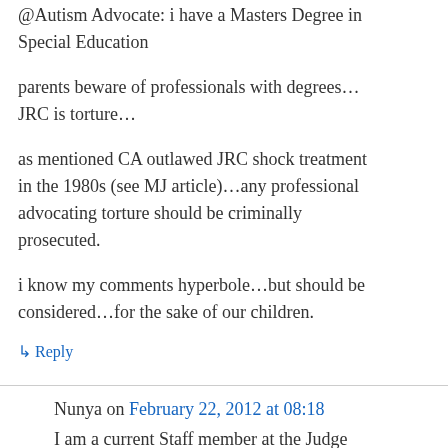@Autism Advocate: i have a Masters Degree in Special Education
parents beware of professionals with degrees… JRC is torture…
as mentioned CA outlawed JRC shock treatment in the 1980s (see MJ article)…any professional advocating torture should be criminally prosecuted.
i know my comments hyperbole…but should be considered…for the sake of our children.
↳ Reply
Nunya on February 22, 2012 at 08:18
I am a current Staff member at the Judge